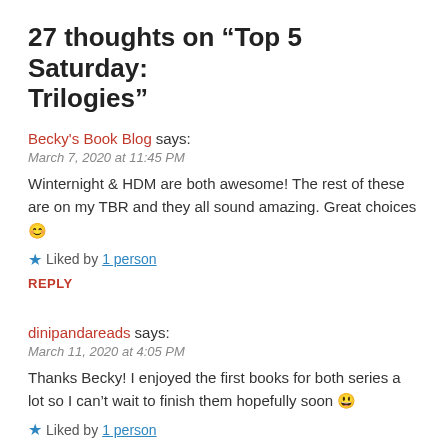27 thoughts on “Top 5 Saturday: Trilogies”
Becky’s Book Blog says:
March 7, 2020 at 11:45 PM
Winternight & HDM are both awesome! The rest of these are on my TBR and they all sound amazing. Great choices 😊
★ Liked by 1 person
REPLY
dinipandareads says:
March 11, 2020 at 4:05 PM
Thanks Becky! I enjoyed the first books for both series a lot so I can’t wait to finish them hopefully soon 😃
★ Liked by 1 person
REPLY